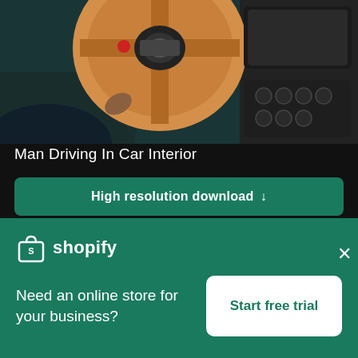[Figure (photo): Car interior close-up showing steering wheel with orange/tan leather, dashboard controls, and driver's hand]
Man Driving In Car Interior
High resolution download ↓
[Figure (photo): Partial view of a person's head against a light background, partially obscured by a Shopify advertisement overlay]
×
[Figure (logo): Shopify logo: white shopping bag icon with 'S' and white text 'shopify']
Need an online store for your business?
Start free trial